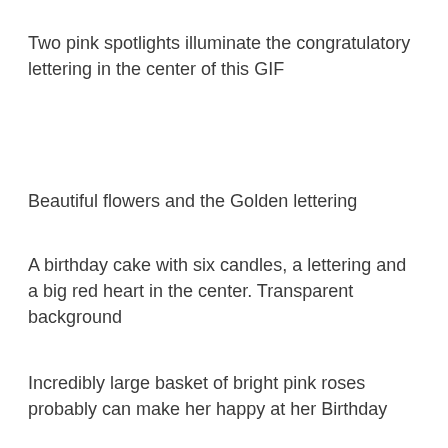Two pink spotlights illuminate the congratulatory lettering in the center of this GIF
Beautiful flowers and the Golden lettering
A birthday cake with six candles, a lettering and a big red heart in the center. Transparent background
Incredibly large basket of bright pink roses probably can make her happy at her Birthday